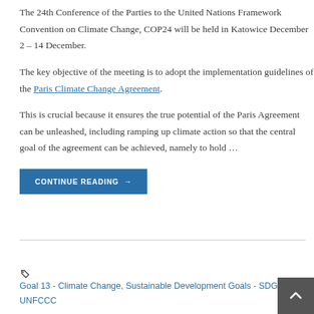The 24th Conference of the Parties to the United Nations Framework Convention on Climate Change, COP24 will be held in Katowice December 2 – 14 December.
The key objective of the meeting is to adopt the implementation guidelines of the Paris Climate Change Agreement.
This is crucial because it ensures the true potential of the Paris Agreement can be unleashed, including ramping up climate action so that the central goal of the agreement can be achieved, namely to hold …
CONTINUE READING →
Goal 13 - Climate Change, Sustainable Development Goals - SDGs, UNFCCC